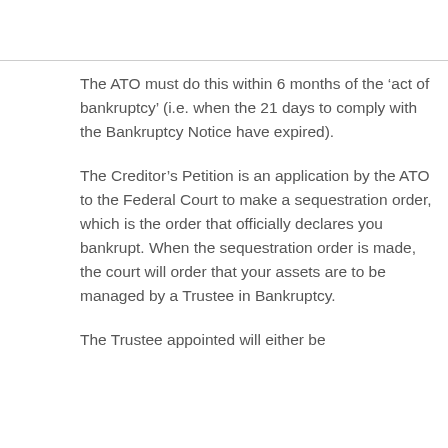The ATO must do this within 6 months of the ‘act of bankruptcy’ (i.e. when the 21 days to comply with the Bankruptcy Notice have expired).
The Creditor’s Petition is an application by the ATO to the Federal Court to make a sequestration order, which is the order that officially declares you bankrupt. When the sequestration order is made, the court will order that your assets are to be managed by a Trustee in Bankruptcy.
The Trustee appointed will either be